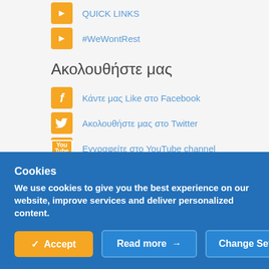QUICK LINKS
#WeWontRest
Ακολουθήστε μας
Κάντε μας Like στο Facebook
Ακολουθήστε μας στο Twitter
Εγγραφείτε στο YouTube channel
Ακολουθείστε μας στο Linkedin
Προσθέστε μας στο Google Plus
Cookies
We use cookies to give you the best experience on our website, improve services and deliver personalized content.
Accept | Read more → | Change Settings